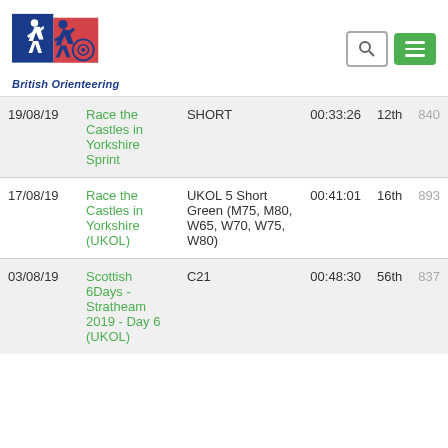[Figure (logo): British Orienteering logo with running figure and compass rose in blue and red, with text 'British Orienteering' in blue italic]
| Date | Event | Course | Time | Position | Points |
| --- | --- | --- | --- | --- | --- |
| 19/08/19 | Race the Castles in Yorkshire Sprint | SHORT | 00:33:26 | 12th | 840 |
| 17/08/19 | Race the Castles in Yorkshire (UKOL) | UKOL 5 Short Green (M75, M80, W65, W70, W75, W80) | 00:41:01 | 16th | 893 |
| 03/08/19 | Scottish 6Days - Stratheam 2019 - Day 6 (UKOL) | C21 | 00:48:30 | 56th | 837 |